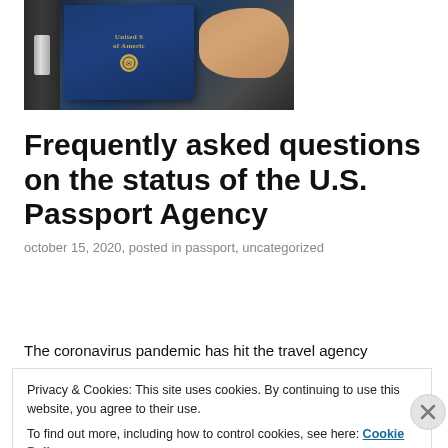[Figure (photo): A hand holding a dark blue United States of America passport, with a zipper bag/wallet visible on the left side.]
Frequently asked questions on the status of the U.S. Passport Agency
october 15, 2020, posted in passport, uncategorized
The coronavirus pandemic has hit the travel agency
Privacy & Cookies: This site uses cookies. By continuing to use this website, you agree to their use.
To find out more, including how to control cookies, see here: Cookie Policy
Close and accept